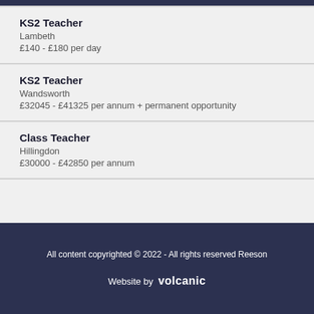KS2 Teacher
Lambeth
£140 - £180 per day
KS2 Teacher
Wandsworth
£32045 - £41325 per annum + permanent opportunity
Class Teacher
Hillingdon
£30000 - £42850 per annum
All content copyrighted © 2022 - All rights reserved Reeson
Website by volcanic